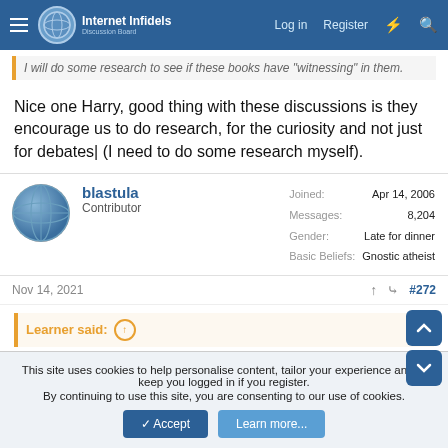Internet Infidels Discussion Board — Log in   Register
I will do some research to see if these books have 'witnessing' in them.
Nice one Harry, good thing with these discussions is they encourage us to do research, for the curiosity and not just for debates| (I need to do some research myself).
| Field | Value |
| --- | --- |
| Joined: | Apr 14, 2006 |
| Messages: | 8,204 |
| Gender: | Late for dinner |
| Basic Beliefs: | Gnostic atheist |
Nov 14, 2021   #272
Learner said:
This site uses cookies to help personalise content, tailor your experience and to keep you logged in if you register.
By continuing to use this site, you are consenting to our use of cookies.